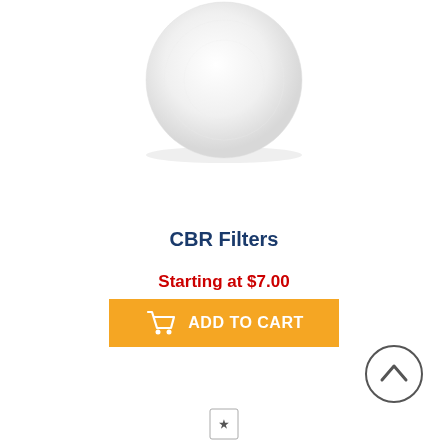[Figure (photo): Circular white filter pad product photo on white background]
CBR Filters
Starting at $7.00
[Figure (other): Orange ADD TO CART button with shopping cart icon]
[Figure (other): Scroll-to-top circular arrow button in bottom right corner]
[Figure (logo): Small logo icon at bottom center]